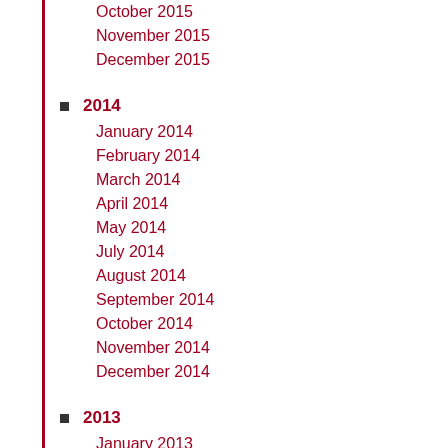October 2015
November 2015
December 2015
2014
January 2014
February 2014
March 2014
April 2014
May 2014
July 2014
August 2014
September 2014
October 2014
November 2014
December 2014
2013
January 2013